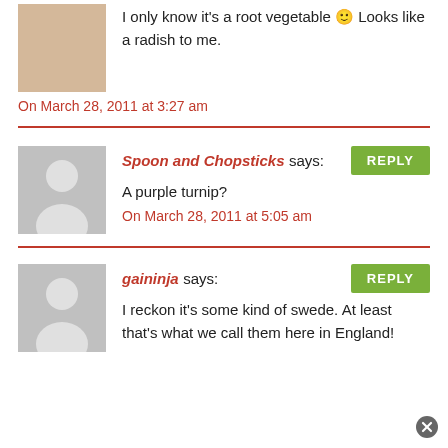I only know it's a root vegetable 🙂 Looks like a radish to me.
On March 28, 2011 at 3:27 am
Spoon and Chopsticks says:
A purple turnip?
On March 28, 2011 at 5:05 am
gaininja says:
I reckon it's some kind of swede. At least that's what we call them here in England!